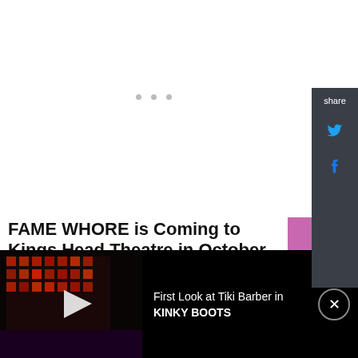[Figure (screenshot): White upper area with faint stage lighting dots, representing an empty/loading area of a webpage]
[Figure (infographic): Share sidebar with Twitter and Facebook icons on dark gray background]
FAME WHORE is Coming to Kings Head Theatre in October
September 2, 2022
[Figure (photo): Thumbnail photo of performer with blue balloon against pink background]
[Figure (screenshot): Video bar at bottom: dark stage image with play button, text reads 'First Look at Tiki Barber in KINKY BOOTS', close button]
First Look at Tiki Barber in KINKY BOOTS